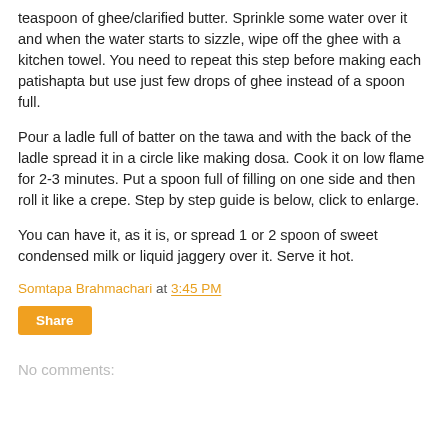teaspoon of ghee/clarified butter. Sprinkle some water over it and when the water starts to sizzle, wipe off the ghee with a kitchen towel. You need to repeat this step before making each patishapta but use just few drops of ghee instead of a spoon full.
Pour a ladle full of batter on the tawa and with the back of the ladle spread it in a circle like making dosa. Cook it on low flame for 2-3 minutes. Put a spoon full of filling on one side and then roll it like a crepe. Step by step guide is below, click to enlarge.
You can have it, as it is, or spread 1 or 2 spoon of sweet condensed milk or liquid jaggery over it. Serve it hot.
Somtapa Brahmachari at 3:45 PM
Share
No comments: